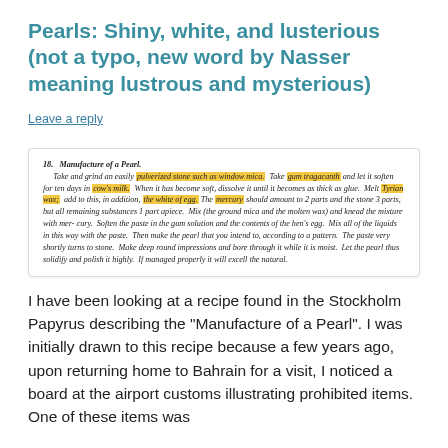Pearls: Shiny, white, and lusterious (not a typo, new word by Nasser meaning lustrous and mysterious)
Leave a reply
[Figure (other): Scanned excerpt from a historical text showing recipe number 18: Manufacture of a Pearl, with highlighted phrases including 'pulverized stone such as window mica', 'gum tragacanth', 'cow’s milk', 'Tyrian wax', 'the white of egg', and 'mercury'.]
I have been looking at a recipe found in the Stockholm Papyrus describing the “Manufacture of a Pearl”. I was initially drawn to this recipe because a few years ago, upon returning home to Bahrain for a visit, I noticed a board at the airport customs illustrating prohibited items. One of these items was